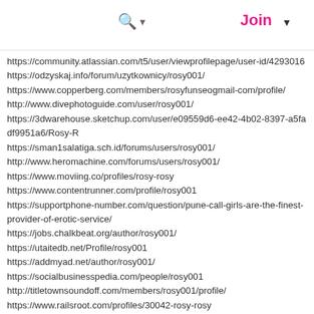🔍▾  Join ▾
https://community.atlassian.com/t5/user/viewprofilepage/user-id/4293016
https://odzyskaj.info/forum/uzytkownicy/rosy001/
https://www.copperberg.com/members/rosyfunseogmail-com/profile/
http://www.divephotoguide.com/user/rosy001/
https://3dwarehouse.sketchup.com/user/e09559d6-ee42-4b02-8397-a5fadf9951a6/Rosy-R
https://sman1salatiga.sch.id/forums/users/rosy001/
http://www.heromachine.com/forums/users/rosy001/
https://www.moviing.co/profiles/rosy-rosy
https://www.contentrunner.com/profile/rosy001
https://supportphone-number.com/question/pune-call-girls-are-the-finest-provider-of-erotic-service/
https://jobs.chalkbeat.org/author/rosy001/
https://utaitedb.net/Profile/rosy001
https://addmyad.net/author/rosy001/
https://socialbusinesspedia.com/people/rosy001
http://titletownsoundoff.com/members/rosy001/profile/
https://www.railsroot.com/profiles/30042-rosy-rosy